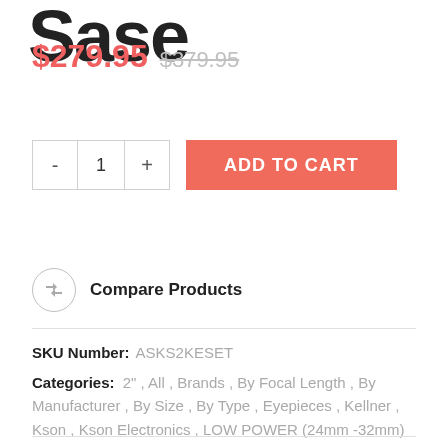[Figure (logo): Partial logo text visible at top of page]
$279.95  $379.95
- 1 + ADD TO CART
Compare Products
SKU Number: ASKS2KESET
Categories: 2" , All , Brands , By Focal Length , By Manufacturer , By Size , By Type , Eyepieces , Kellner , Kson , Kson Electronics , LOW POWER (24mm -32mm)